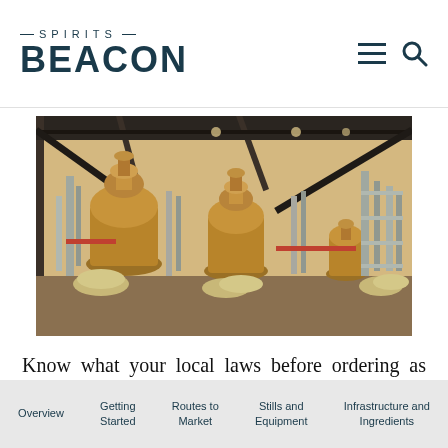— SPIRITS — BEACON
[Figure (photo): Interior of a distillery showing multiple copper pot stills and stainless steel distillation equipment on a warehouse floor, with burlap sacks in the foreground and exposed ceiling beams above.]
Know what your local laws before ordering as they are not the still makers problem to resolve. For example, can you place a boiler in the same
Overview | Getting Started | Routes to Market | Stills and Equipment | Infrastructure and Ingredients